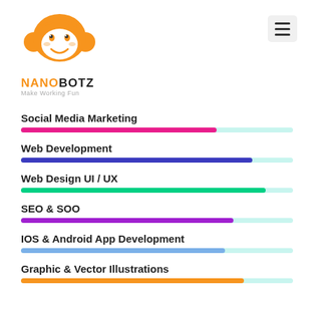[Figure (logo): NanoBotz monkey logo with orange face, white inner face, smiling expression. Brand name NANOBOTZ with tagline Make Working Fun.]
[Figure (bar-chart): Skills progress bars]